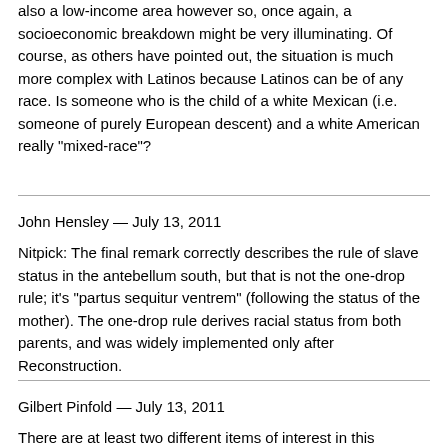also a low-income area however so, once again, a socioeconomic breakdown might be very illuminating. Of course, as others have pointed out, the situation is much more complex with Latinos because Latinos can be of any race. Is someone who is the child of a white Mexican (i.e. someone of purely European descent) and a white American really "mixed-race"?
John Hensley — July 13, 2011
Nitpick: The final remark correctly describes the rule of slave status in the antebellum south, but that is not the one-drop rule; it's "partus sequitur ventrem" (following the status of the mother). The one-drop rule derives racial status from both parents, and was widely implemented only after Reconstruction.
Gilbert Pinfold — July 13, 2011
There are at least two different items of interest in this